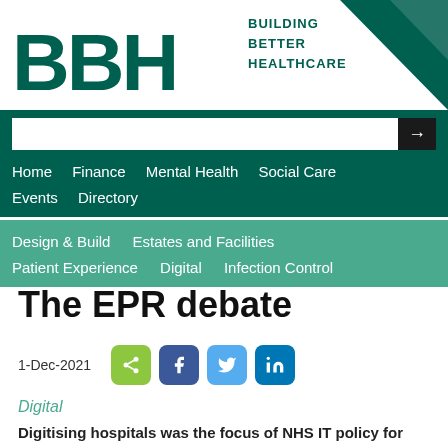[Figure (logo): BBH Building Better Healthcare logo with dark green triangle graphic on right]
Home   Finance   Mental Health   Social Care   Events   Directory
Design & Build   Estates and Facilities   Patient Experience   Digital   Infection Control
The EPR debate
1-Dec-2021
Digital
Digitising hospitals was the focus of NHS IT policy for